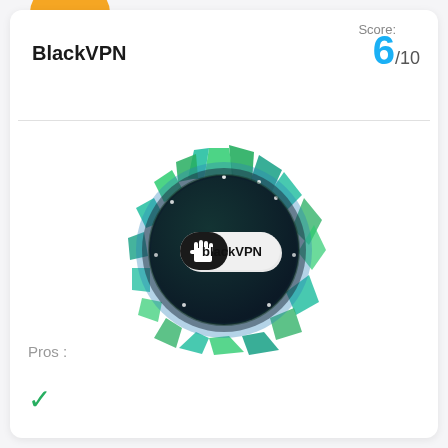BlackVPN
Score: 6/10
[Figure (logo): BlackVPN logo: a dark circular emblem with a raised fist icon and 'blackVPN' text, surrounded by green and blue geometric shards forming a spiky circular pattern]
Pros :
✓